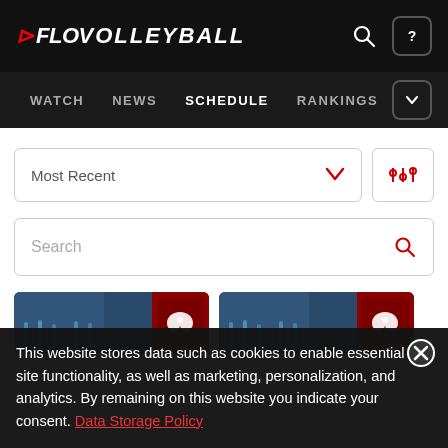FLOVOLLEYBALL
WATCH
NEWS
SCHEDULE
RANKINGS
Most Recent
Search
[Figure (screenshot): Two volleyball match thumbnail cards with blue action images and dark red Mizuno-branded panels]
This website stores data such as cookies to enable essential site functionality, as well as marketing, personalization, and analytics. By remaining on this website you indicate your consent. Data Storage Policy